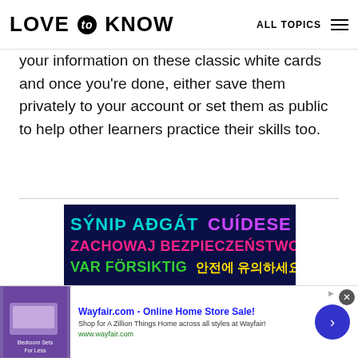LOVE to KNOW  ALL TOPICS
your information on these classic white cards and once you're done, either save them privately to your account or set them as public to help other learners practice their skills too.
[Figure (infographic): Dark navy background ad/graphic with multilingual 'Be Safe' text in various colors: 'SÝNIÞ AÐGÁT' in cyan, 'CUÍDESE' in purple, 'ZACHOWAJ BEZPIECZEŃSTWO' in pink/magenta, 'VAR FÖRSIKTIG' in green, Korean text in yellow, 'BE SAFE' in large white bold text, and partially visible text in Vietnamese and Greek at the bottom.]
[Figure (infographic): Bottom advertisement banner for Wayfair.com - Online Home Store Sale! with a purple thumbnail image of bedroom furniture, Wayfair ad text, and a blue circular arrow button.]